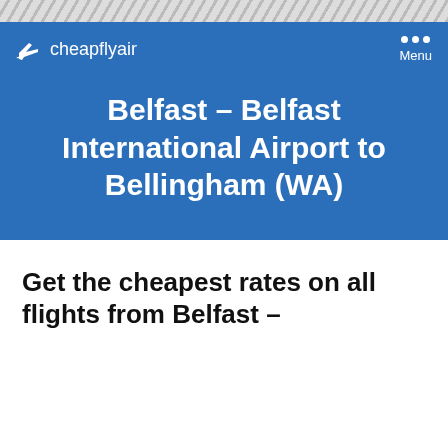[Figure (other): Diagonal stripe pattern at top of page]
cheapflyair
Belfast – Belfast International Airport to Bellingham (WA)
Get the cheapest rates on all flights from Belfast –